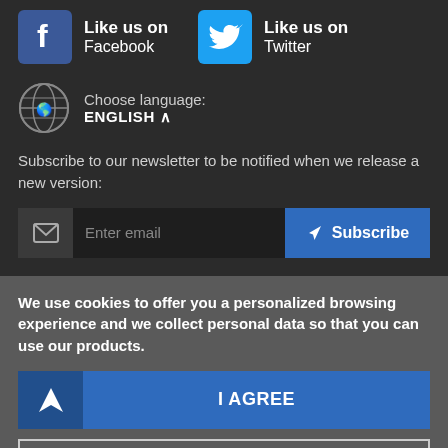Like us on Facebook
Like us on Twitter
Choose language: ENGLISH
Subscribe to our newsletter to be notified when we release a new version:
Enter email  Subscribe
We use cookies to offer you a personalized browsing experience and we collect personal data so that you can use our products.
I AGREE
READ MORE